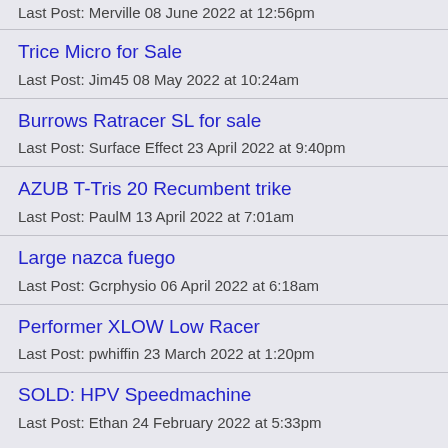Last Post: Merville 08 June 2022 at 12:56pm
Trice Micro for Sale
Last Post: Jim45 08 May 2022 at 10:24am
Burrows Ratracer SL for sale
Last Post: Surface Effect 23 April 2022 at 9:40pm
AZUB T-Tris 20 Recumbent trike
Last Post: PaulM 13 April 2022 at 7:01am
Large nazca fuego
Last Post: Gcrphysio 06 April 2022 at 6:18am
Performer XLOW Low Racer
Last Post: pwhiffin 23 March 2022 at 1:20pm
SOLD: HPV Speedmachine
Last Post: Ethan 24 February 2022 at 5:33pm